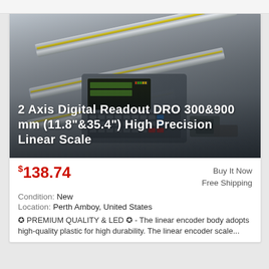[Figure (photo): Product photo of a 2 Axis Digital Readout DRO with linear scale encoders. Shows a digital display unit with keypad and two long metallic linear scale rails, along with mounting hardware, on a gray gradient background. White text overlay shows the product title.]
2 Axis Digital Readout DRO 300&900 mm (11.8"&35.4") High Precision Linear Scale
$138.74
Buy It Now
Free Shipping
Condition: New
Location: Perth Amboy, United States
✪ PREMIUM QUALITY & LED ✪ - The linear encoder body adopts high-quality plastic for high durability. The linear encoder scale...